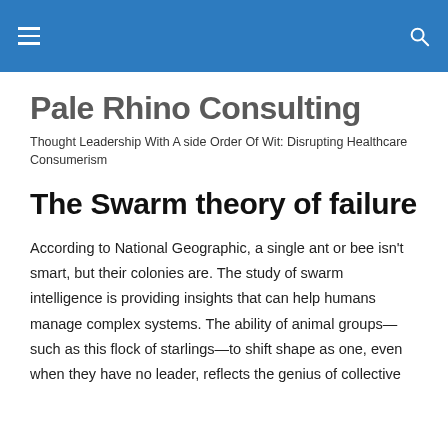Pale Rhino Consulting — navigation header with hamburger menu and search icon
Pale Rhino Consulting
Thought Leadership With A side Order Of Wit: Disrupting Healthcare Consumerism
The Swarm theory of failure
According to National Geographic, a single ant or bee isn't smart, but their colonies are. The study of swarm intelligence is providing insights that can help humans manage complex systems. The ability of animal groups—such as this flock of starlings—to shift shape as one, even when they have no leader, reflects the genius of collective